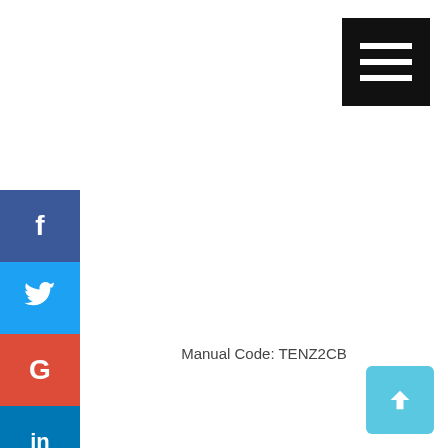[Figure (other): Hamburger menu icon button (black square with three white horizontal lines) in the top right corner]
[Figure (other): Vertical social media sidebar with Facebook (blue), Twitter (light blue), Google+ (red), and LinkedIn (dark blue) icon buttons]
Manual Code: TENZ2CB
Link 6 – 200K in Free Double Down Chips 8.30.22
3 hours ago
Doubledown Casino Free Chips, Doubledown casino Promo Codes  0
~Denskie here s with a code below worth 200K in Free DoubleDown chips! ~Enjoy!
[Figure (other): Light blue back-to-top button with upward chevron arrow in bottom right corner]